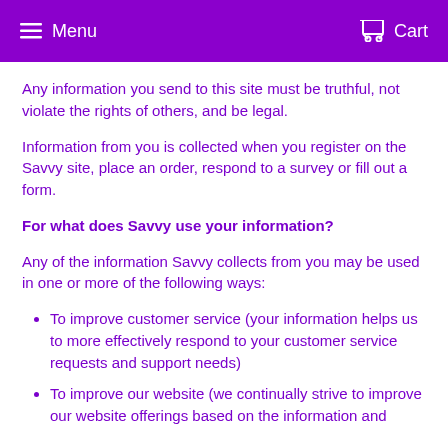Menu   Cart
Any information you send to this site must be truthful, not violate the rights of others, and be legal.
Information from you is collected when you register on the Savvy site, place an order, respond to a survey or fill out a form.
For what does Savvy use your information?
Any of the information Savvy collects from you may be used in one or more of the following ways:
To improve customer service (your information helps us to more effectively respond to your customer service requests and support needs)
To improve our website (we continually strive to improve our website offerings based on the information and